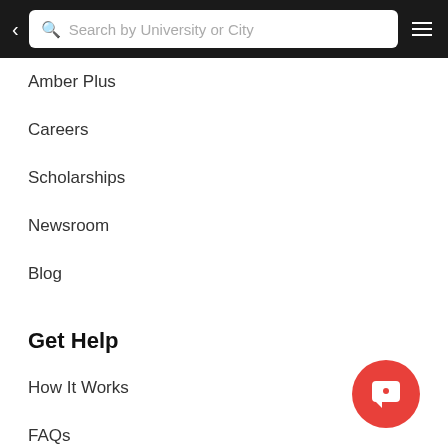Search by University or City
Amber Plus
Careers
Scholarships
Newsroom
Blog
Get Help
How It Works
FAQs
Contact
Terms